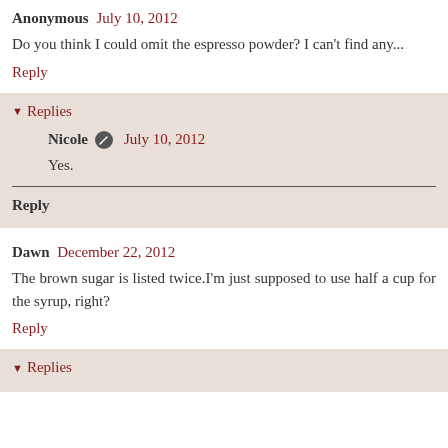Anonymous July 10, 2012
Do you think I could omit the espresso powder? I can't find any...
Reply
Replies
Nicole July 10, 2012
Yes.
Reply
Dawn December 22, 2012
The brown sugar is listed twice.I'm just supposed to use half a cup for the syrup, right?
Reply
Replies